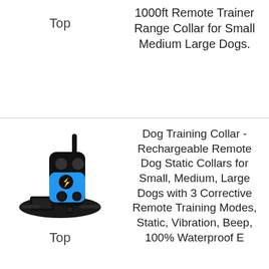Top
1000ft Remote Trainer Range Collar for Small Medium Large Dogs.
[Figure (photo): Dog training collar device with black remote control featuring blue grip and a black adjustable strap collar]
Top
Dog Training Collar - Rechargeable Remote Dog Static Collars for Small, Medium, Large Dogs with 3 Corrective Remote Training Modes, Static, Vibration, Beep, 100% Waterproof E